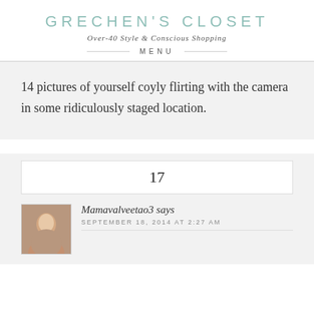GRECHEN'S CLOSET
Over-40 Style & Conscious Shopping
MENU
14 pictures of yourself coyly flirting with the camera in some ridiculously staged location.
17
Mamavalveetao3 says
SEPTEMBER 18, 2014 AT 2:27 AM